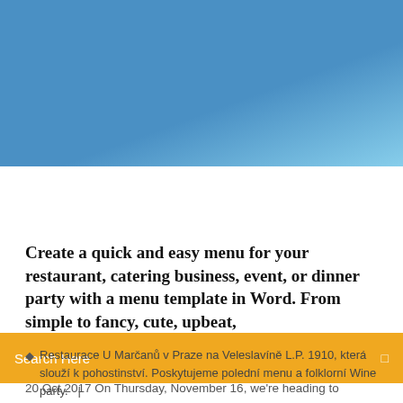[Figure (photo): Blue sky gradient header image]
Search Here
Create a quick and easy menu for your restaurant, catering business, event, or dinner party with a menu template in Word. From simple to fancy, cute, upbeat,
Restaurace U Marčanů v Praze na Veleslavíně L.P. 1910, která slouží k pohostinství. Poskytujeme polední menu a folklorní Wine party.   |
7 Comments
20 Oct 2017 On Thursday, November 16, we're heading to